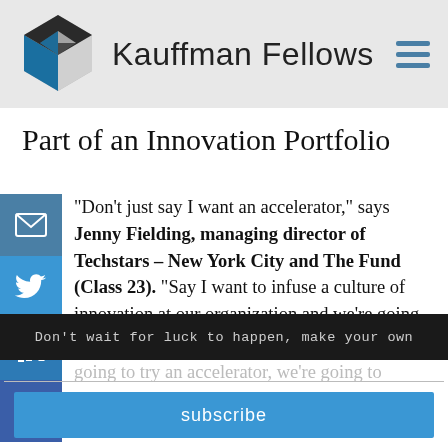Kauffman Fellows
Part of an Innovation Portfolio
“Don’t just say I want an accelerator,” says Jenny Fielding, managing director of Techstars – New York City and The Fund (Class 23). “Say I want to infuse a culture of innovation at our organization and we’re going to do a few different things. We’re going to try an accelerator, we’re going to
Don’t wait for luck to happen, make your own
subscribe